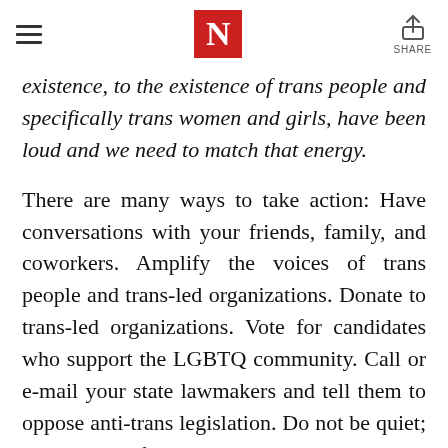N | SHARE
existence, to the existence of trans people and specifically trans women and girls, have been loud and we need to match that energy.
There are many ways to take action: Have conversations with your friends, family, and coworkers. Amplify the voices of trans people and trans-led organizations. Donate to trans-led organizations. Vote for candidates who support the LGBTQ community. Call or e-mail your state lawmakers and tell them to oppose anti-trans legislation. Do not be quiet; we need all of our allies to understand that these attacks will have very real impacts well